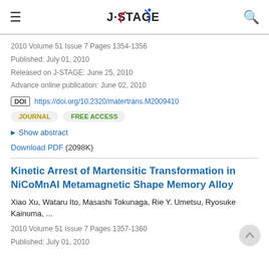J-STAGE
2010 Volume 51 Issue 7 Pages 1354-1356
Published: July 01, 2010
Released on J-STAGE: June 25, 2010
Advance online publication: June 02, 2010
DOI https://doi.org/10.2320/matertrans.M2009410
JOURNAL   FREE ACCESS
Show abstract
Download PDF (2098K)
Kinetic Arrest of Martensitic Transformation in NiCoMnAl Metamagnetic Shape Memory Alloy
Xiao Xu, Wataru Ito, Masashi Tokunaga, Rie Y. Umetsu, Ryosuke Kainuma, ...
2010 Volume 51 Issue 7 Pages 1357-1360
Published: July 01, 2010